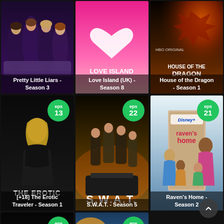[Figure (screenshot): TV show grid layout showing 8 show posters in 3 rows of 3 (last row has 2). Row 1: Pretty Little Liars Season 3, Love Island (UK) Season 8, House of the Dragon Season 1. Row 2: [+18] The Erotic Traveler Season 1 (eps 13), S.W.A.T. Season 5 (eps 22), Raven's Home Season 2 (eps 21). Row 3: Unknown show (eps 5), Unknown show (eps 8). A scroll-to-top button appears bottom right.]